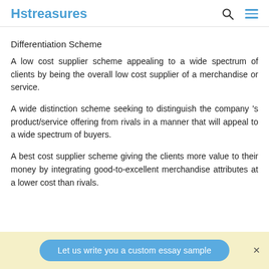Hstreasures
Differentiation Scheme
A low cost supplier scheme appealing to a wide spectrum of clients by being the overall low cost supplier of a merchandise or service.
A wide distinction scheme seeking to distinguish the company 's product/service offering from rivals in a manner that will appeal to a wide spectrum of buyers.
A best cost supplier scheme giving the clients more value to their money by integrating good-to-excellent merchandise attributes at a lower cost than rivals.
Let us write you a custom essay sample